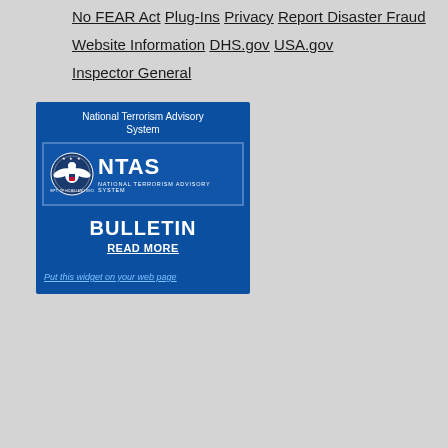No FEAR Act
Plug-Ins
Privacy
Report Disaster Fraud
Website Information
DHS.gov
USA.gov
Inspector General
[Figure (infographic): National Terrorism Advisory System (NTAS) widget showing a BULLETIN notice with DHS seal and NTAS logo, with a 'READ MORE' link and 'Put this widget on your web page' link at the bottom.]